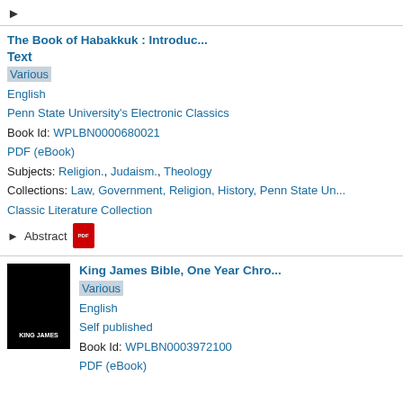▶
The Book of Habakkuk : Introduc...
Text
Various
English
Penn State University's Electronic Classics
Book Id: WPLBN0000680021
PDF (eBook)
Subjects: Religion., Judaism., Theology
Collections: Law, Government, Religion, History, Penn State Un... Classic Literature Collection
▶ Abstract
King James Bible, One Year Chro...
Various
English
Self published
Book Id: WPLBN0003972100
PDF (eBook)